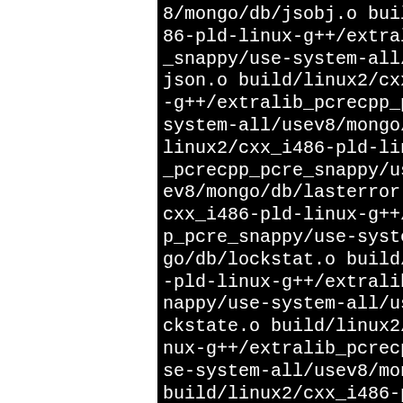8/mongo/db/jsobj.o build/linux2/cxx_i486-pld-linux-g++/extralib_pcrecpp_pcre_snappy/use-system-all/usev8/mongo/db/json.o build/linux2/cxx_i486-pld-linux-g++/extralib_pcrecpp_pcre_system-all/usev8/mongo/db/linux2/cxx_i486-pld-linux-g++/extralib_pcrecpp_pcre_snappy/use-system-all/usev8/mongo/db/lasterror.o build/linux2/cxx_i486-pld-linux-g++/extralib_pcrecpp_pcre_snappy/use-system-all/usev8/mongo/db/lockstat.o build/linux2/cxx_i486-pld-linux-g++/extralib_pcrecpp_pcre_snappy/use-system-all/usev8/mongo/db/lockstate.o build/linux2/cxx_i486-pld-linux-g++/extralib_pcrecpp_pcre_se-system-all/usev8/mongo/db/build/linux2/cxx_i486-pld-linux-g++/extralib_pcrecpp_pcre_snappy/use-system-all/usev8/mongo/db/matcher.o build/linux2/cxx_i486-pld-linux-g++/extralib_pcrecpp_pcre_snappy/use-system-all/usev8/mongo/db/memconcept.o build/linux2/cxx_i486-pld-linux-g++